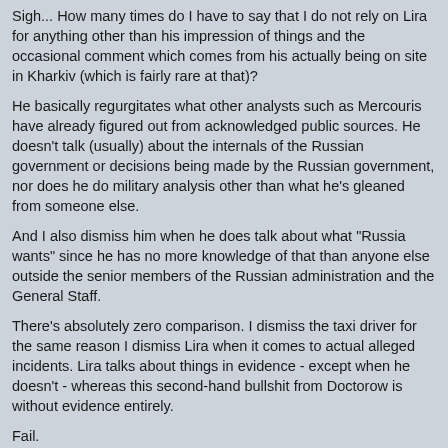Sigh... How many times do I have to say that I do not rely on Lira for anything other than his impression of things and the occasional comment which comes from his actually being on site in Kharkiv (which is fairly rare at that)?
He basically regurgitates what other analysts such as Mercouris have already figured out from acknowledged public sources. He doesn't talk (usually) about the internals of the Russian government or decisions being made by the Russian government, nor does he do military analysis other than what he's gleaned from someone else.
And I also dismiss him when he does talk about what "Russia wants" since he has no more knowledge of that than anyone else outside the senior members of the Russian administration and the General Staff.
There's absolutely zero comparison. I dismiss the taxi driver for the same reason I dismiss Lira when it comes to actual alleged incidents. Lira talks about things in evidence - except when he doesn't - whereas this second-hand bullshit from Doctorow is without evidence entirely.
Fail.
Posted by: Richard Steven Hack | May 13 2022 23:14 utc | 104